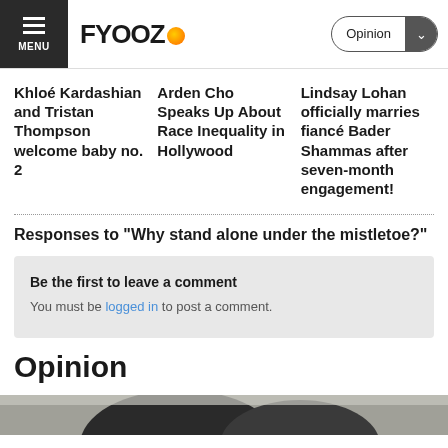FYOOZ — Opinion
Khloé Kardashian and Tristan Thompson welcome baby no. 2
Arden Cho Speaks Up About Race Inequality in Hollywood
Lindsay Lohan officially marries fiancé Bader Shammas after seven-month engagement!
Responses to "Why stand alone under the mistletoe?"
Be the first to leave a comment
You must be logged in to post a comment.
Opinion
[Figure (photo): Bottom portion of a photo showing dark headphones or equipment]